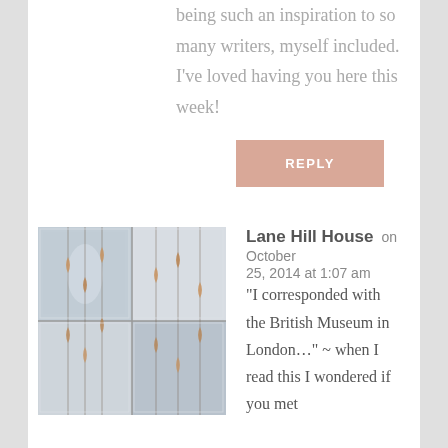being such an inspiration to so many writers, myself included. I've loved having you here this week!
REPLY
[Figure (photo): Thumbnail avatar image showing decorative hanging ornaments or crystals in a grid layout, appearing like chandelier drops]
Lane Hill House on October 25, 2014 at 1:07 am
“I corresponded with the British Museum in London...” ~ when I read this I wondered if you met